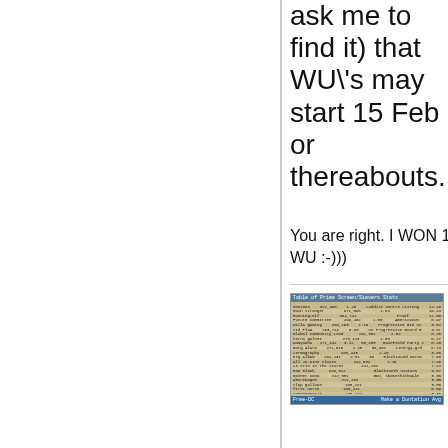ask me to find it) that WU\'s may start 15 Feb or thereabouts.
You are right. I WON 1 WU :-)))
[Figure (screenshot): Screenshot of a Free-DC statistics table showing project rankings and credit data]